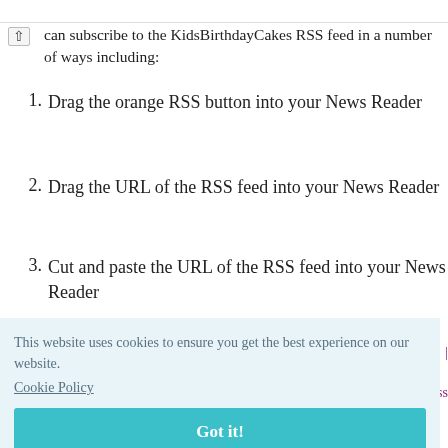can subscribe to the KidsBirthdayCakes RSS feed in a number of ways including:
Drag the orange RSS button into your News Reader
Drag the URL of the RSS feed into your News Reader
Cut and paste the URL of the RSS feed into your News Reader
This website uses cookies to ensure you get the best experience on our website. Cookie Policy
Got it!
cakesrss